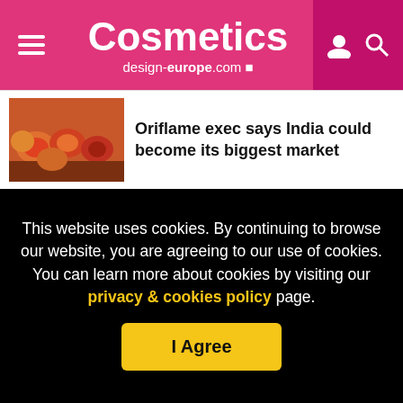Cosmetics design-europe.com
Oriflame exec says India could become its biggest market
Oriflame results hit by geopolitical tensions in Ukraine and Russia
Ukraine unrest likely to push back
This website uses cookies. By continuing to browse our website, you are agreeing to our use of cookies. You can learn more about cookies by visiting our privacy & cookies policy page.